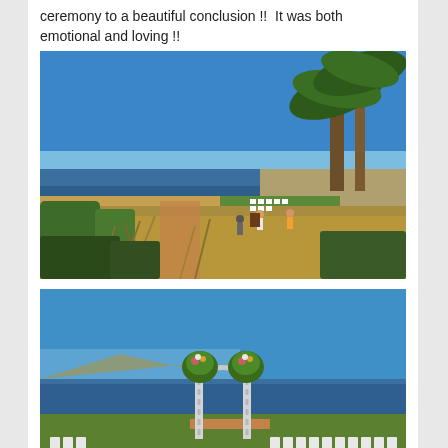ceremony to a beautiful conclusion !!  It was both emotional and loving !!
[Figure (photo): Outdoor wedding venue setup on a coastal bluff with ocean view, palm trees, white chairs arranged for ceremony, several people walking around, dry grassy hillside in foreground, bright blue sky]
[Figure (photo): Outdoor wedding altar with floral arch decorated with greenery and flowers, white twisted fabric on poles, white chairs arranged in rows, ocean and hills visible in background, blue sky]